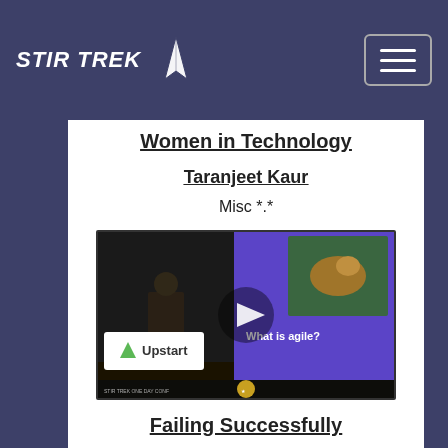STIR TREK
Women in Technology
Taranjeet Kaur
Misc *.*
[Figure (screenshot): Video thumbnail showing a speaker at a conference on the left, and a purple slide with a dog and text 'What is agile?' on the right, with an Upstart logo overlay and a play button in the center.]
Failing Successfully
Cassandra Faris
Professional Skills / Soft Skills